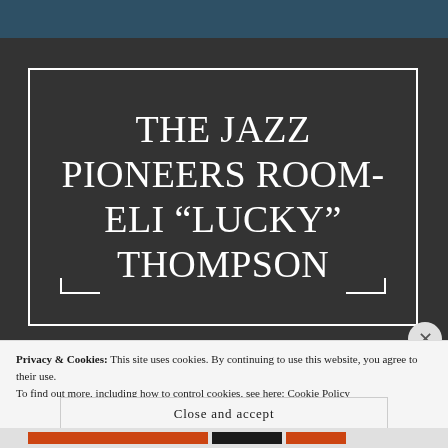THE JAZZ PIONEERS ROOM- ELI “LUCKY” THOMPSON
Privacy & Cookies: This site uses cookies. By continuing to use this website, you agree to their use.
To find out more, including how to control cookies, see here: Cookie Policy
Close and accept